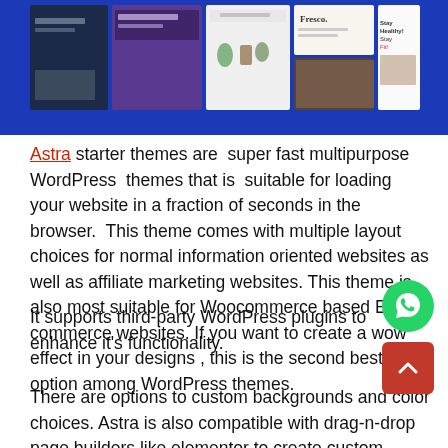[Figure (screenshot): Screenshot collage of multiple website themes including dark, purple, light, and photo-based designs on a blue background. Shows various WordPress theme previews.]
Astra starter themes are super fast multipurpose WordPress themes that is suitable for loading your website in a fraction of seconds in the browser. This theme comes with multiple layout choices for normal information oriented websites as well as affiliate marketing websites. This theme is also most suitable for Woocommerce based E-commerce websites. If you want to create a wow effect in your designs , this is the second best option among WordPress themes.
It supports third-party WordPress plugins to enhance it's functionality.
There are options to custom backgrounds and color choices. Astra is also compatible with drag-n-drop page builders like elementor to create custom designs, creating